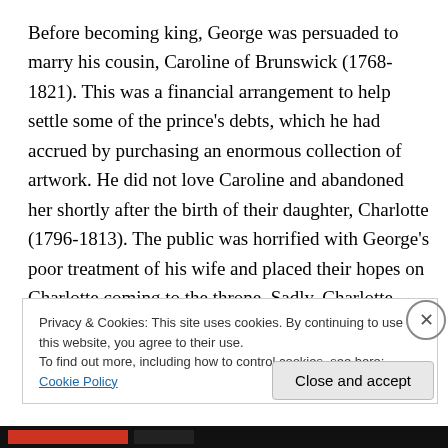Before becoming king, George was persuaded to marry his cousin, Caroline of Brunswick (1768-1821). This was a financial arrangement to help settle some of the prince's debts, which he had accrued by purchasing an enormous collection of artwork. He did not love Caroline and abandoned her shortly after the birth of their daughter, Charlotte (1796-1813). The public was horrified with George's poor treatment of his wife and placed their hopes on Charlotte coming to the throne. Sadly, Charlotte died in
Privacy & Cookies: This site uses cookies. By continuing to use this website, you agree to their use.
To find out more, including how to control cookies, see here: Cookie Policy
Close and accept